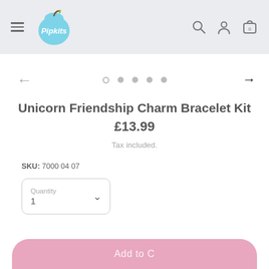Pipkits – navigation header with menu, logo, search, account, and cart icons
[Figure (screenshot): Carousel image navigation row with left arrow, five dots (first open circle, four filled), and right arrow]
Unicorn Friendship Charm Bracelet Kit
£13.99
Tax included.
SKU: 7000 04 07
Quantity
1
Add to Cart